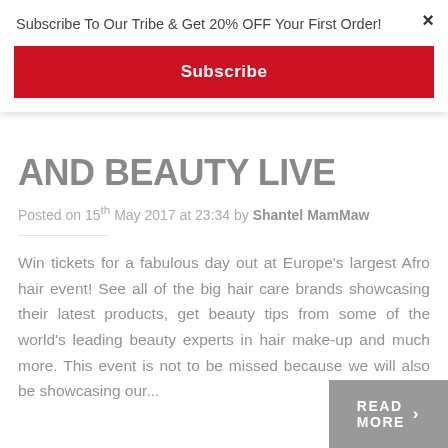Subscribe To Our Tribe & Get 20% OFF Your First Order!
Subscribe
×
AND BEAUTY LIVE
Posted on 15th May 2017 at 23:34 by Shantel MamMaw
Win tickets for a fabulous day out at Europe's largest Afro hair event! See all of the big hair care brands showcasing their latest products, get beauty tips from some of the world's leading beauty experts in hair make-up and much more. This event is not to be missed because we will also be showcasing our...
READ MORE >